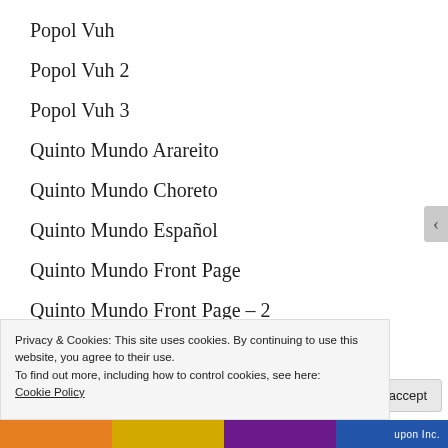Popol Vuh
Popol Vuh 2
Popol Vuh 3
Quinto Mundo Arareito
Quinto Mundo Choreto
Quinto Mundo Español
Quinto Mundo Front Page
Quinto Mundo Front Page – 2
Quinto Mundo Hicoteara
Quinto Mundo Iereimuguru
Privacy & Cookies: This site uses cookies. By continuing to use this website, you agree to their use.
To find out more, including how to control cookies, see here: Cookie Policy
Close and accept